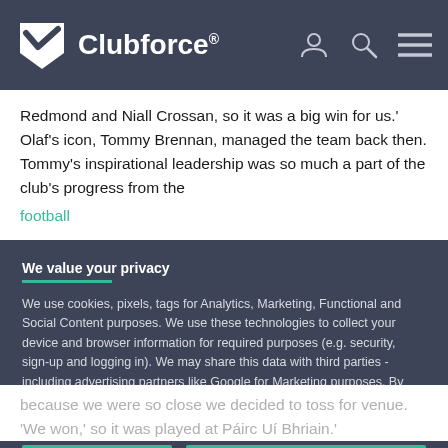Clubforce®
Redmond and Niall Crossan, so it was a big win for us.' Olaf's icon, Tommy Brennan, managed the team back then. Tommy's inspirational leadership was so much a part of the club's progress from the football
We value your privacy
We use cookies, pixels, tags for Analytics, Marketing, Functional and Social Content purposes. We use these technologies to collect your device and browser information for required purposes (e.g. security, sign-up and logging in). We may share this data with third parties - including advertising partners like Google for Marketing purposes. By clicking "Accept All", you consent to the use of ALL the cookies. Please visit our for more information.
ACCEPT ALL
COOKIE SETTINGS
because we were so close we decided to toss for venue. 'We won,' so it was played at Páirc Uí Bhriain.'